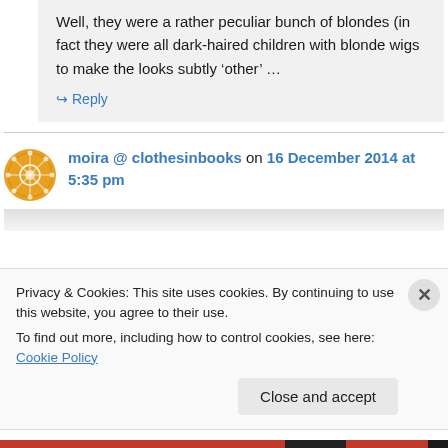Well, they were a rather peculiar bunch of blondes (in fact they were all dark-haired children with blonde wigs to make the looks subtly ‘other’ …
↪ Reply
moira @ clothesinbooks on 16 December 2014 at 5:35 pm
Privacy & Cookies: This site uses cookies. By continuing to use this website, you agree to their use.
To find out more, including how to control cookies, see here: Cookie Policy
Close and accept